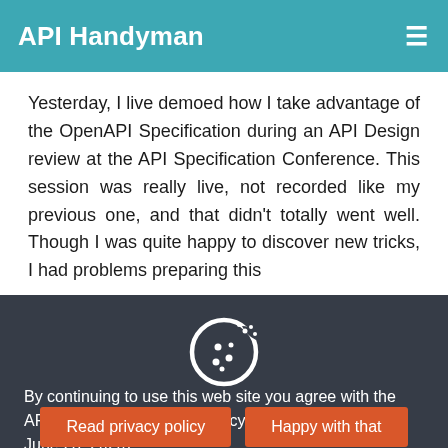API Handyman
Yesterday, I live demoed how I take advantage of the OpenAPI Specification during an API Design review at the API Specification Conference. This session was really live, not recorded like my previous one, and that didn't totally went well. Though I was quite happy to discover new tricks, I had problems preparing this
[Figure (illustration): Cookie icon — white outline of a cookie with dots on a dark background]
By continuing to use this web site you agree with the API Handyman website privacy policy (effective date , June 28, 2020).
Read privacy policy | Happy with that